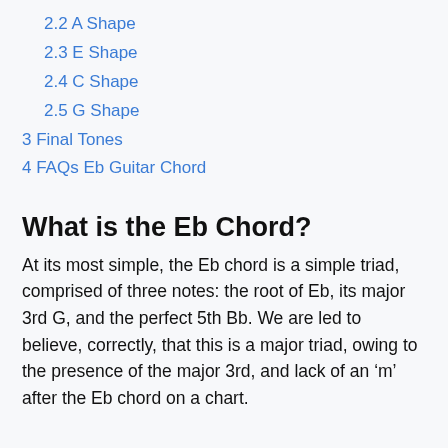2.2 A Shape
2.3 E Shape
2.4 C Shape
2.5 G Shape
3 Final Tones
4 FAQs Eb Guitar Chord
What is the Eb Chord?
At its most simple, the Eb chord is a simple triad, comprised of three notes: the root of Eb, its major 3rd G, and the perfect 5th Bb. We are led to believe, correctly, that this is a major triad, owing to the presence of the major 3rd, and lack of an ‘m’ after the Eb chord on a chart.